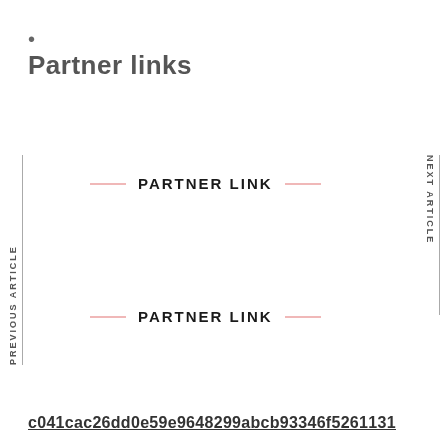•
Partner links
PREVIOUS ARTICLE
PARTNER LINK
NEXT ARTICLE
PARTNER LINK
c041cac26dd0e59e9648299abcb93346f5261131